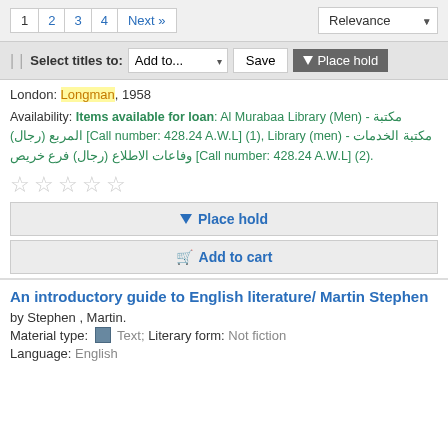1 2 3 4 Next » | Relevance
| | Select titles to: Add to... Save Place hold
London: Longman, 1958
Availability: Items available for loan: Al Murabaa Library (Men) - مكتبة المربع (رجال) [Call number: 428.24 A.W.L] (1), Library (men) - مكتبة الخدمات وفاعات الاطلاع (رجال) فرع خريص [Call number: 428.24 A.W.L] (2).
[Figure (other): Five empty star rating icons]
Place hold
Add to cart
An introductory guide to English literature/ Martin Stephen
by Stephen , Martin.
Material type: Text; Literary form: Not fiction
Language: English